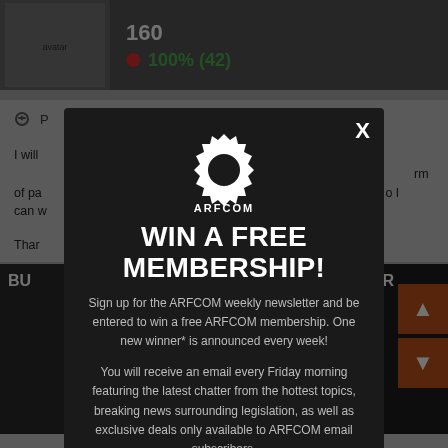[Figure (screenshot): Background page showing a forum post header with avatar image, number 160, green rating 100% (42), partial post text, and image strip at bottom with navigation buttons.]
[Figure (infographic): ARFCOM modal popup with gear logo, 'WIN A FREE MEMBERSHIP!' headline, newsletter sign-up description, and email input field at bottom.]
WIN A FREE MEMBERSHIP!
Sign up for the ARFCOM weekly newsletter and be entered to win a free ARFCOM membership. One new winner* is announced every week!
You will receive an email every Friday morning featuring the latest chatter from the hottest topics, breaking news surrounding legislation, as well as exclusive deals only available to ARFCOM email subscribers.